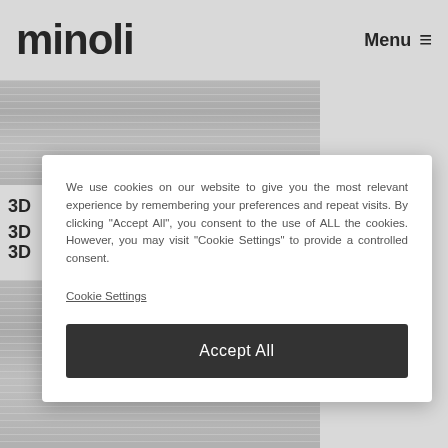[Figure (logo): Minoli brand logo in bold black text]
Menu ☰
[Figure (photo): Textured light-grey ribbed tile surface, partially visible behind overlay]
We use cookies on our website to give you the most relevant experience by remembering your preferences and repeat visits. By clicking "Accept All", you consent to the use of ALL the cookies. However, you may visit "Cookie Settings" to provide a controlled consent.
Cookie Settings
Accept All